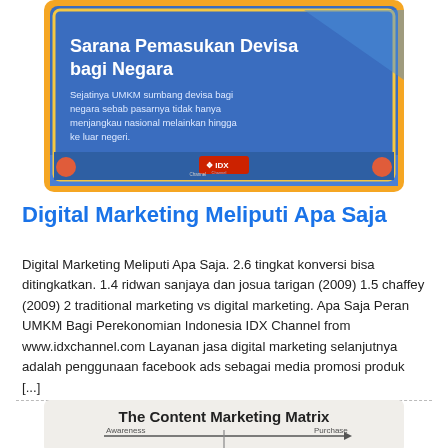[Figure (infographic): IDX Channel infographic: 'Sarana Pemasukan Devisa bagi Negara' - blue background with yellow border, showing text about UMKM contributing foreign exchange for the country since their market reaches not just nationally but also abroad. IDX logo at bottom.]
Digital Marketing Meliputi Apa Saja
Digital Marketing Meliputi Apa Saja. 2.6 tingkat konversi bisa ditingkatkan. 1.4 ridwan sanjaya dan josua tarigan (2009) 1.5 chaffey (2009) 2 traditional marketing vs digital marketing. Apa Saja Peran UMKM Bagi Perekonomian Indonesia IDX Channel from www.idxchannel.com Layanan jasa digital marketing selanjutnya adalah penggunaan facebook ads sebagai media promosi produk [...]
[Figure (infographic): The Content Marketing Matrix infographic - partial view showing title and top portion with axes labeled 'Awareness' to 'Purchase']